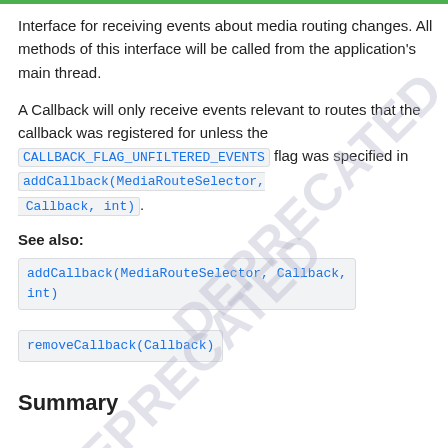Interface for receiving events about media routing changes. All methods of this interface will be called from the application's main thread.
A Callback will only receive events relevant to routes that the callback was registered for unless the CALLBACK_FLAG_UNFILTERED_EVENTS flag was specified in addCallback(MediaRouteSelector, Callback, int).
See also:
addCallback(MediaRouteSelector, Callback, int)
removeCallback(Callback)
Summary